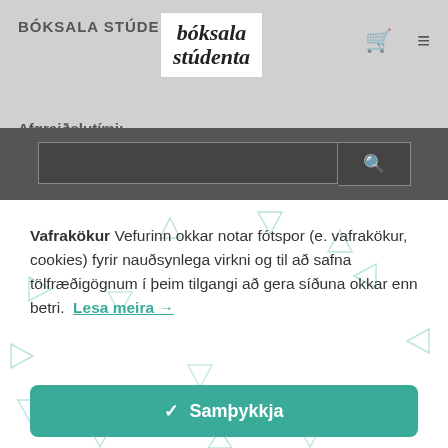BÓKSALA STÚDENTA
[Figure (logo): Bóksala stúdenta logo in white box with stylized italic text]
Afgreiðslutími:
Vafrakökur Vefurinn okkar notar fótspor (e. vafrakökur, cookies) fyrir nauðsynlega virkni og til að safna tölfræðigögnum í þeim tilgangi að gera síðuna okkar enn betri. Lesa meira →
✓ Samþykkja
Change Settings ⚙